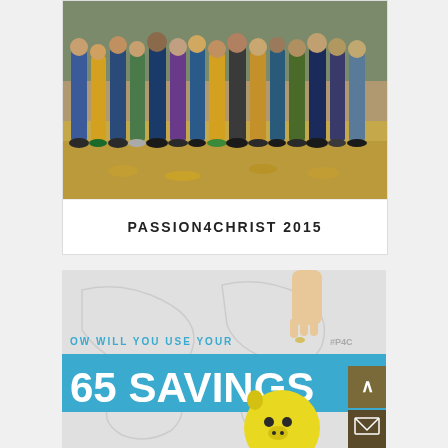[Figure (photo): Group photo of young people standing outdoors on autumn leaves, wearing casual clothing in yellow, blue, and dark tones]
PASSION4CHRIST 2015
[Figure (photo): Promotional image with text 'HOW WILL YOU USE YOUR 365 SAVINGS' with a hand dropping a coin into a yellow smiley-face piggy bank (Summit brand), blue banner across middle, hashtag #P4C visible]